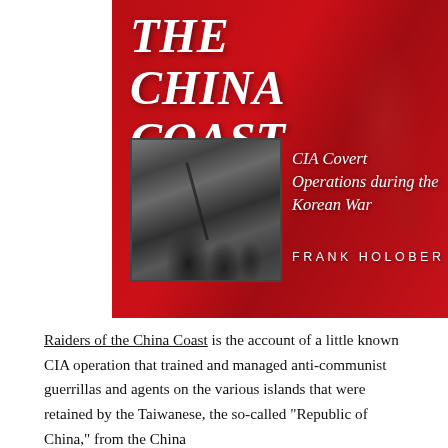[Figure (illustration): Book cover of 'The China Coast' by Frank Holober. Deep red background with faint figures. Large white italic bold title text reads 'THE CHINA COAST'. An inset black-and-white photograph shows armed guerrilla fighters. Subtitle reads 'CIA Covert Operations during the Korean War'. Author name 'FRANK HOLOBER' in spaced capitals.]
Raiders of the China Coast is the account of a little known CIA operation that trained and managed anti-communist guerrillas and agents on the various islands that were retained by the Taiwanese, the so-called "Republic of China," from the China